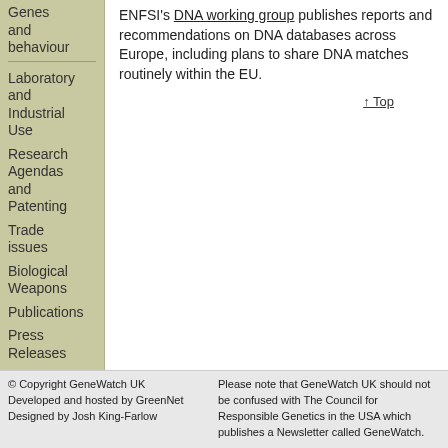Genes and behaviour
Laboratory and Industrial Use
Research Agendas and Patenting
Trade issues
Biological Weapons
Publications
Press Releases
Donate
ENFSI's DNA working group publishes reports and recommendations on DNA databases across Europe, including plans to share DNA matches routinely within the EU.
↑ Top
© Copyright GeneWatch UK
Developed and hosted by GreenNet
Designed by Josh King-Farlow

Please note that GeneWatch UK should not be confused with The Council for Responsible Genetics in the USA which publishes a Newsletter called GeneWatch.